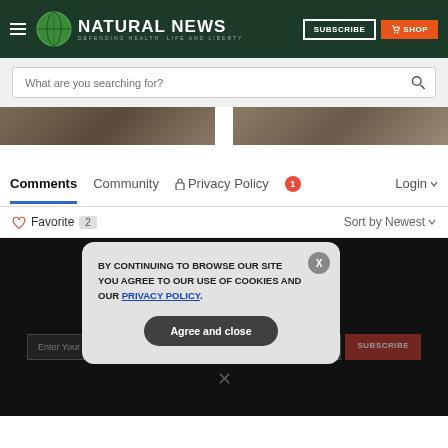NATURAL NEWS — DEFENDING HEALTH, LIFE AND LIBERTY
What are you searching for?
[Figure (photo): Two partial images of cracked earth or stone texture]
Comments  Community  Privacy Policy  1  Login
Favorite 2   Sort by Newest
GET THE WORLD'S BEST NATURAL HEALTH NEWSLETTER DELIVERED STRAIGHT TO YOUR INBOX
Enter Your Email Address
BY CONTINUING TO BROWSE OUR SITE YOU AGREE TO OUR USE OF COOKIES AND OUR PRIVACY POLICY.
Agree and close